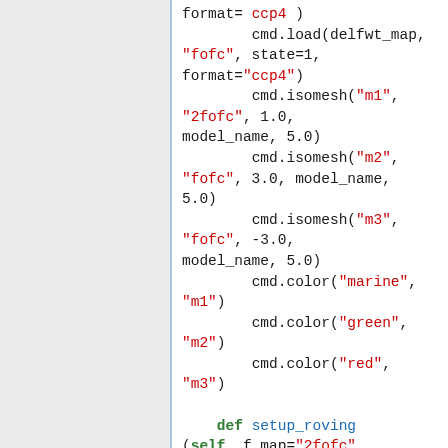format= ccp4 )
        cmd.load(delfwt_map,
"fofc", state=1,
format="ccp4")
        cmd.isomesh("m1",
"2fofc", 1.0,
model_name, 5.0)
        cmd.isomesh("m2",
"fofc", 3.0, model_name,
5.0)
        cmd.isomesh("m3",
"fofc", -3.0,
model_name, 5.0)
        cmd.color("marine",
"m1")
        cmd.color("green",
"m2")
        cmd.color("red",
"m3")

    def setup_roving
(self, f_map="2fofc",
diff_map="fofc") :